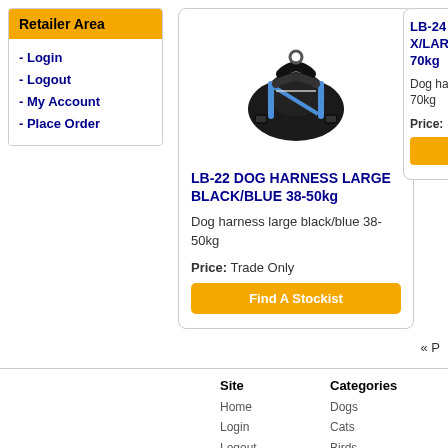Retailer Area
- Login
- Logout
- My Account
- Place Order
[Figure (photo): Dog harness large black/blue product photo]
LB-22 DOG HARNESS LARGE BLACK/BLUE 38-50kg
Dog harness large black/blue 38-50kg
Price: Trade Only
Find A Stockist
LB-24 X/LAR... 70kg
Dog ha... 70kg
Price:
« P
Site
Home
Login
Logout
Categories
Dogs
Cats
Birds
Small Animals
Fish & Aquatic